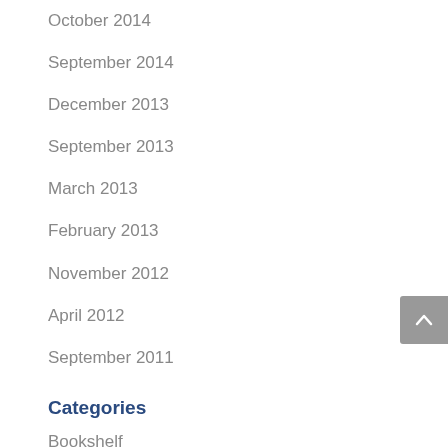October 2014
September 2014
December 2013
September 2013
March 2013
February 2013
November 2012
April 2012
September 2011
Categories
Bookshelf
Brain